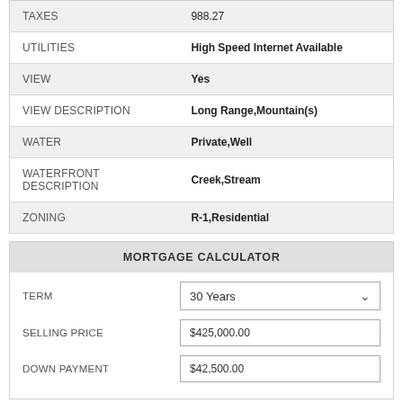| Label | Value |
| --- | --- |
| TAXES | 988.27 |
| UTILITIES | High Speed Internet Available |
| VIEW | Yes |
| VIEW DESCRIPTION | Long Range,Mountain(s) |
| WATER | Private,Well |
| WATERFRONT DESCRIPTION | Creek,Stream |
| ZONING | R-1,Residential |
MORTGAGE CALCULATOR
| Field | Value |
| --- | --- |
| TERM | 30 Years |
| SELLING PRICE | $425,000.00 |
| DOWN PAYMENT | $42,500.00 |